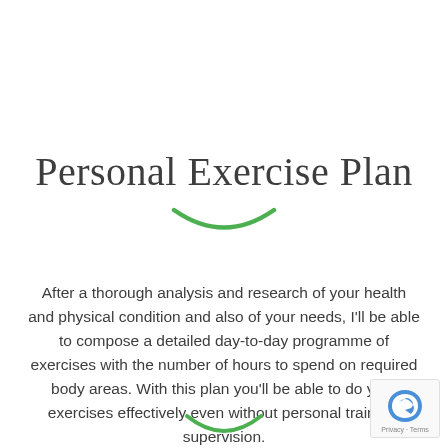Personal Exercise Plan
[Figure (illustration): Green smile/arc decorative curve beneath the title]
After a thorough analysis and research of your health and physical condition and also of your needs, I'll be able to compose a detailed day-to-day programme of exercises with the number of hours to spend on required body areas. With this plan you'll be able to do your exercises effectively even without personal trainer's supervision.
[Figure (illustration): Green smile/arc decorative curve at the bottom of the page]